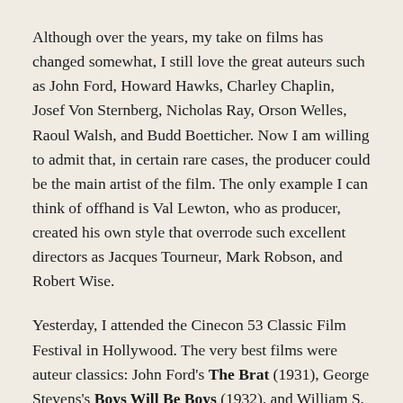Although over the years, my take on films has changed somewhat, I still love the great auteurs such as John Ford, Howard Hawks, Charley Chaplin, Josef Von Sternberg, Nicholas Ray, Orson Welles, Raoul Walsh, and Budd Boetticher. Now I am willing to admit that, in certain rare cases, the producer could be the main artist of the film. The only example I can think of offhand is Val Lewton, who as producer, created his own style that overrode such excellent directors as Jacques Tourneur, Mark Robson, and Robert Wise.
Yesterday, I attended the Cinecon 53 Classic Film Festival in Hollywood. The very best films were auteur classics: John Ford's The Brat (1931), George Stevens's Boys Will Be Boys (1932), and William S. Hart's Shark Monroe (1918). But where I diverge from the auteurists is my enjoyment of some films by relative nobodies,. most particularly John Blystone's Woman Chases Man (1937)—which ended up